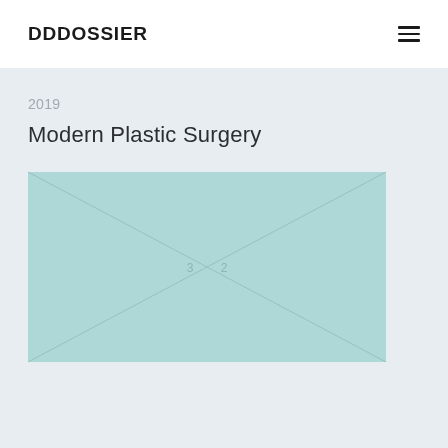DDDOSSIER
2019
Modern Plastic Surgery
[Figure (illustration): Placeholder image box with light teal/blue background and diagonal cross lines, showing numbers 3 and 2 in the center]